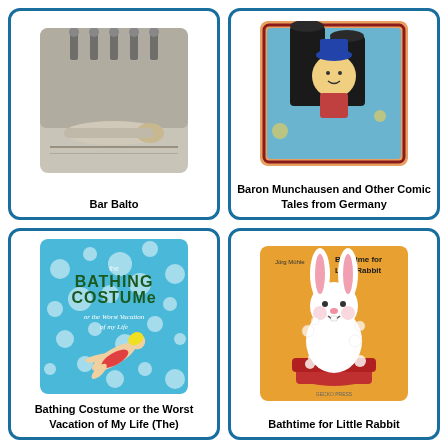[Figure (illustration): Book cover for 'Bar Balto' showing people around a figure lying on the ground, sketch/grey style, partially cropped at top]
Bar Balto
[Figure (illustration): Book cover for 'Baron Munchausen and Other Comic Tales from Germany' with colorful cartoon character in boots, partially cropped at top]
Baron Munchausen and Other Comic Tales from Germany
[Figure (illustration): Book cover for 'The Bathing Costume or the Worst Vacation of My Life' showing a person swimming underwater in blue water with bubbles]
Bathing Costume or the Worst Vacation of My Life (The)
[Figure (illustration): Book cover for 'Bathtime for Little Rabbit' showing a cute white rabbit in a red tub with soap bubbles, orange background]
Bathtime for Little Rabbit